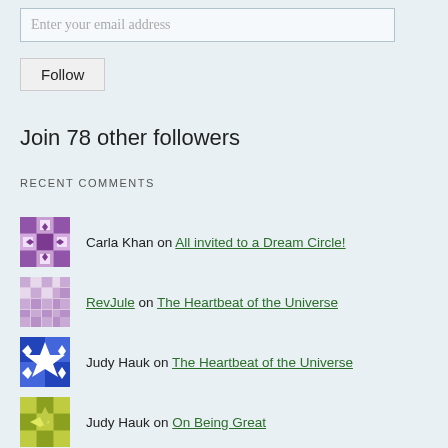Enter your email address
Follow
Join 78 other followers
RECENT COMMENTS
Carla Khan on All invited to a Dream Circle!
RevJule on The Heartbeat of the Universe
Judy Hauk on The Heartbeat of the Universe
Judy Hauk on On Being Great
Judy Hauk on True or False?